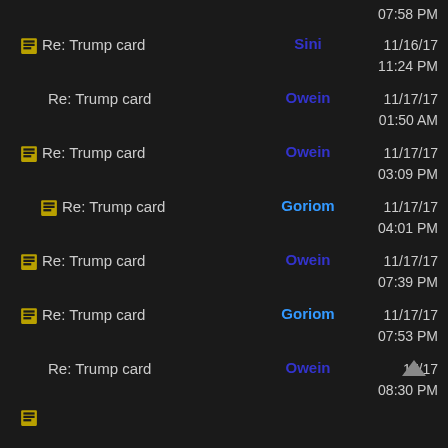07:58 PM
Re: Trump card | Sini | 11/16/17 11:24 PM
Re: Trump card | Owein | 11/17/17 01:50 AM
Re: Trump card | Owein | 11/17/17 03:09 PM
Re: Trump card | Goriom | 11/17/17 04:01 PM
Re: Trump card | Owein | 11/17/17 07:39 PM
Re: Trump card | Goriom | 11/17/17 07:53 PM
Re: Trump card | Owein | 11/17/17 08:30 PM